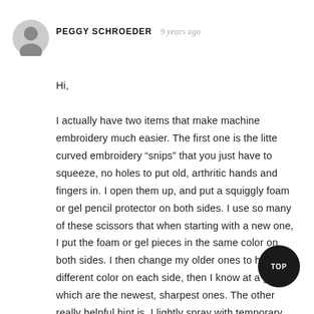[Figure (illustration): Grey circular avatar icon of a generic user silhouette]
PEGGY SCHROEDER   9 years ago
Hi,

I actually have two items that make machine embroidery much easier. The first one is the litte curved embroidery “snips” that you just have to squeeze, no holes to put old, arthritic hands and fingers in. I open them up, and put a squiggly foam or gel pencil protector on both sides. I use so many of these scissors that when starting with a new one, I put the foam or gel pieces in the same color on both sides. I then change my older ones to have a different color on each side, then I know at a glance which are the newest, sharpest ones. The other really helpful hint is, I lightly spray with temporary adhesive, a piece of bridal tulle and use it for a topper when doing terry towels, or other fabrics with a fluffy, (such